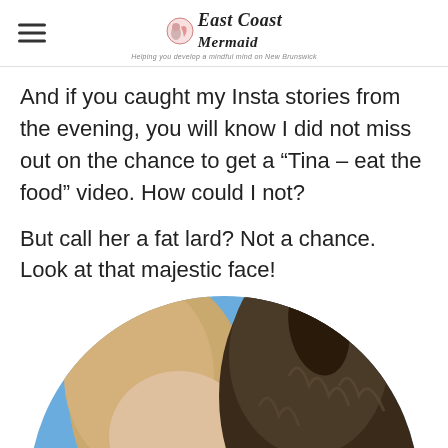East Coast Mermaid - Helping you develop a mindful mind on New Brunswick
And if you caught my Insta stories from the evening, you will know I did not miss out on the chance to get a “Tina – eat the food” video. How could I not?
But call her a fat lard? Not a chance. Look at that majestic face!
[Figure (photo): Circular cropped photo showing a person with blonde hair wearing sunglasses close-up with a dark furry animal (horse or similar) beside them against a blue sky background]